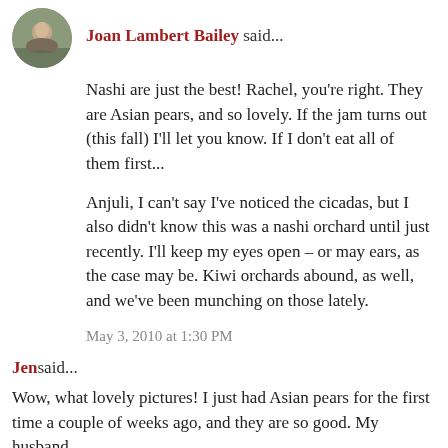[Figure (photo): Circular avatar photo of Joan Lambert Bailey, a woman with a green scarf]
Joan Lambert Bailey said...
Nashi are just the best! Rachel, you're right. They are Asian pears, and so lovely. If the jam turns out (this fall) I'll let you know. If I don't eat all of them first...
Anjuli, I can't say I've noticed the cicadas, but I also didn't know this was a nashi orchard until just recently. I'll keep my eyes open – or may ears, as the case may be. Kiwi orchards abound, as well, and we've been munching on those lately.
May 3, 2010 at 1:30 PM
Jen said...
Wow, what lovely pictures! I just had Asian pears for the first time a couple of weeks ago, and they are so good. My husband